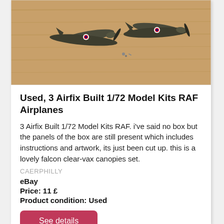[Figure (photo): Two built Airfix 1/72 scale RAF model airplane kits (Spitfires) on a wooden surface with small parts scattered around]
Used, 3 Airfix Built 1/72 Model Kits RAF Airplanes
3 Airfix Built 1/72 Model Kits RAF. i've said no box but the panels of the box are still present which includes instructions and artwork, its just been cut up. this is a lovely falcon clear-vax canopies set.
CAERPHILLY
eBay
Price: 11 £
Product condition: Used
See details